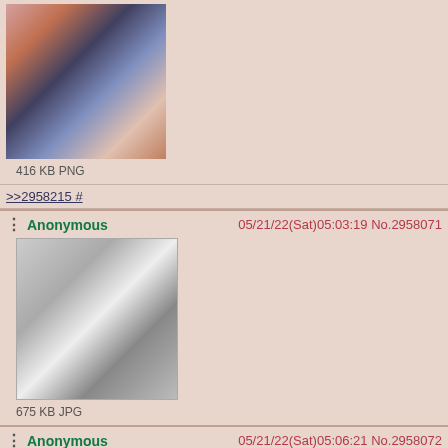[Figure (illustration): Color manga/anime image thumbnail, partial view at top of page]
416 KB PNG
>>2958215 #
Anonymous  05/21/22(Sat)05:03:19 No.2958071
[Figure (illustration): Grayscale manga image thumbnail showing figures]
675 KB JPG
Anonymous  05/21/22(Sat)05:06:21 No.2958072
[Figure (photo): Grayscale photograph thumbnail with black bar at bottom]
238 KB JPG